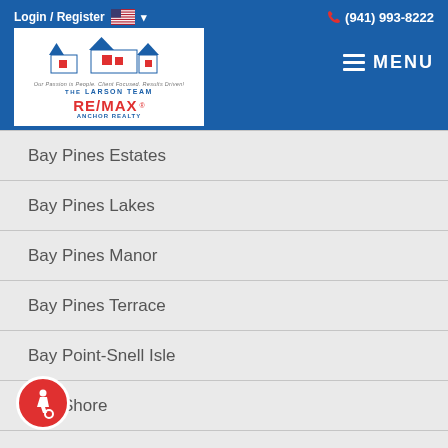Login / Register  (941) 993-8222
[Figure (logo): The Larson Team RE/MAX Anchor Realty logo with house icons]
Bay Pines Estates
Bay Pines Lakes
Bay Pines Manor
Bay Pines Terrace
Bay Point-Snell Isle
Bay Shore
Bay Shore Park
Bay State